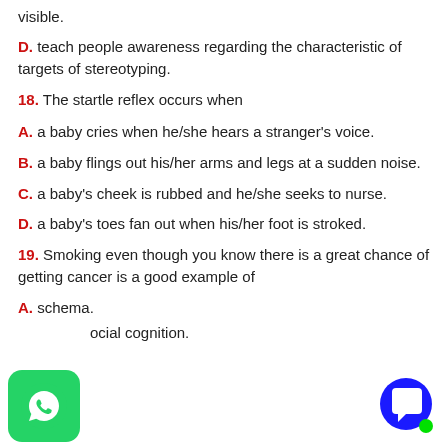visible.
D. teach people awareness regarding the characteristic of targets of stereotyping.
18. The startle reflex occurs when
A. a baby cries when he/she hears a stranger's voice.
B. a baby flings out his/her arms and legs at a sudden noise.
C. a baby's cheek is rubbed and he/she seeks to nurse.
D. a baby's toes fan out when his/her foot is stroked.
19. Smoking even though you know there is a great chance of getting cancer is a good example of
A. schema.
B. social cognition.